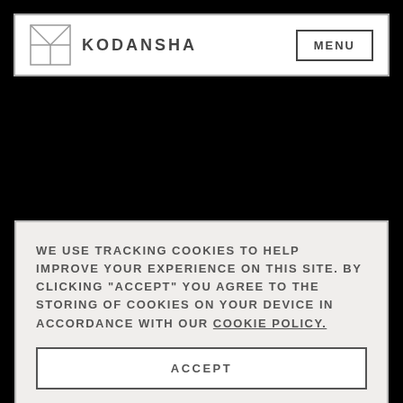KODANSHA | MENU
WE USE TRACKING COOKIES TO HELP IMPROVE YOUR EXPERIENCE ON THIS SITE. BY CLICKING "ACCEPT" YOU AGREE TO THE STORING OF COOKIES ON YOUR DEVICE IN ACCORDANCE WITH OUR COOKIE POLICY.
ACCEPT
MANAGE COOKIES
[Figure (illustration): Bottom strip showing partial manga/comic illustration with teal/green tones on the left and pink tones on the right against black background]